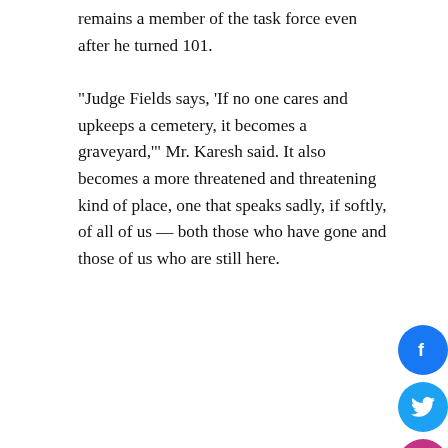remains a member of the task force even after he turned 101.
“Judge Fields says, ‘If no one cares and upkeeps a cemetery, it becomes a graveyard,’” Mr. Karesh said. It also becomes a more threatened and threatening kind of place, one that speaks sadly, if softly, of all of us — both those who have gone and those of us who are still here.
[Figure (infographic): Floating social media share buttons on the right side: Facebook (blue circle), Twitter (blue circle), Instagram (pink circle)]
SHARE ON SOCIAL MEDIA
[Figure (infographic): Social media share row with share icon and SHARES label, followed by colored circles: Facebook (blue), Twitter (light blue), LinkedIn (dark blue), Pinterest (red), More (orange)]
ADVOCACY ALERTS
MEDIA COVERAGE